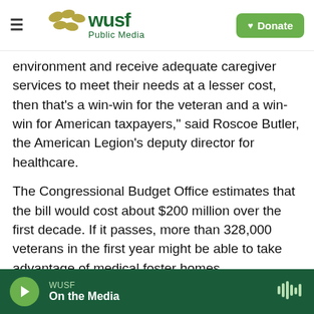WUSF Public Media | Donate
environment and receive adequate caregiver services to meet their needs at a lesser cost, then that's a win-win for the veteran and a win-win for American taxpayers," said Roscoe Butler, the American Legion's deputy director for healthcare.
The Congressional Budget Office estimates that the bill would cost about $200 million over the first decade. If it passes, more than 328,000 veterans in the first year might be able to take advantage of medical foster homes.
This story was produced by the American Homefront Project, a public media collaboration
WUSF — On the Media